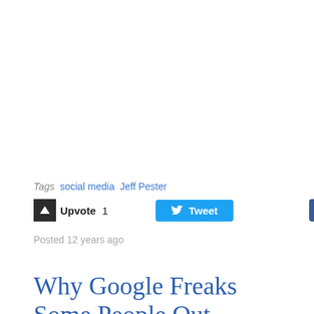Tags  social media  Jeff Pester
Upvote 1  Tweet  Share 0
Posted 12 years ago
Why Google Freaks Some People Out